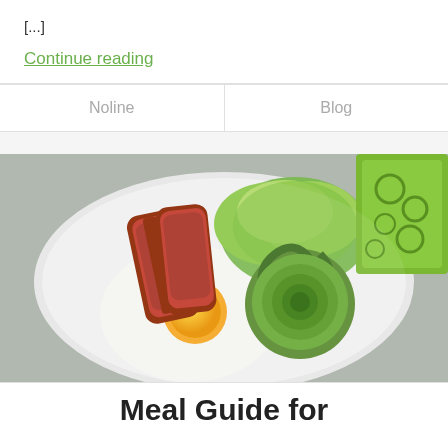[...]
Continue reading
| Noline | Blog |
[Figure (photo): A white plate with a fried egg, crispy bacon strips, fresh green lettuce, and avocado slices arranged in a rose pattern. A green patterned napkin is visible in the upper right corner.]
Meal Guide for